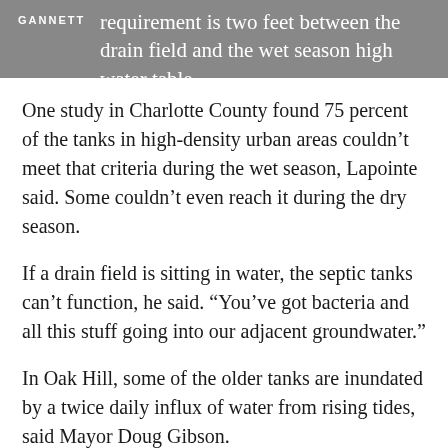GANNETT
requirement is two feet between the drain field and the wet season high water table.
One study in Charlotte County found 75 percent of the tanks in high-density urban areas couldn’t meet that criteria during the wet season, Lapointe said. Some couldn’t even reach it during the dry season.
If a drain field is sitting in water, the septic tanks can’t function, he said. “You’ve got bacteria and all this stuff going into our adjacent groundwater.”
In Oak Hill, some of the older tanks are inundated by a twice daily influx of water from rising tides, said Mayor Doug Gibson.